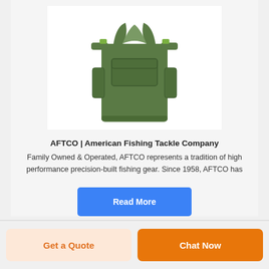[Figure (photo): Green tactical/fishing vest shown from the front on a white background]
AFTCO | American Fishing Tackle Company
Family Owned & Operated, AFTCO represents a tradition of high performance precision-built fishing gear. Since 1958, AFTCO has
Read More
Get a Quote
Chat Now